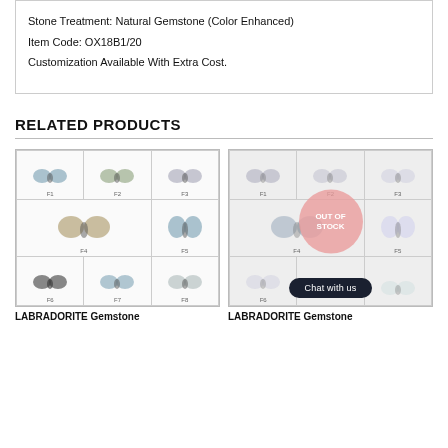Stone Treatment: Natural Gemstone (Color Enhanced)
Item Code: OX18B1/20
Customization Available With Extra Cost.
RELATED PRODUCTS
[Figure (photo): Grid of 8 labradorite gemstone butterfly carvings labeled F1-F8]
LABRADORITE Gemstone
[Figure (photo): Grid of labradorite gemstone butterfly carvings with OUT OF STOCK overlay and Chat with us button]
LABRADORITE Gemstone